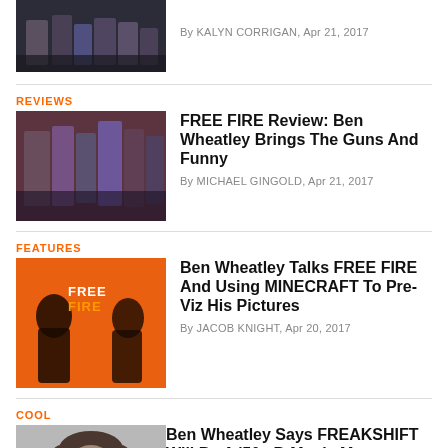[Figure (photo): Group of people standing together, top article thumbnail]
By KALYN CORRIGAN, Apr 21, 2017
REVIEWS
[Figure (photo): Film still from Free Fire showing group of people]
FREE FIRE Review: Ben Wheatley Brings The Guns And Funny
By MICHAEL GINGOLD, Apr 21, 2017
FEATURES
[Figure (photo): Free Fire orange movie poster with silhouetted figures]
Ben Wheatley Talks FREE FIRE And Using MINECRAFT To Pre-Viz His Pictures
By JACOB KNIGHT, Apr 20, 2017
COOL
[Figure (photo): Portrait of Ben Wheatley, bearded man in white shirt]
Ben Wheatley Says FREAKSHIFT Will Be A '50s B-Movie Meets DOOM
By SCOTT WAMPLER, Apr 18, 2017